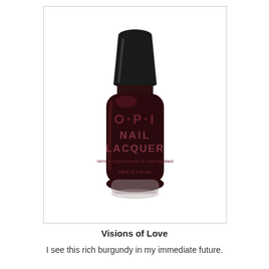[Figure (photo): OPI Nail Lacquer bottle in deep dark burgundy/plum color with black cap. Label reads OPI NAIL LACQUER, Vernis à Ongles·Esmalte de Uñas·Nagellack, 15mL·0.5 Fl.Oz.]
Visions of Love
I see this rich burgundy in my immediate future.